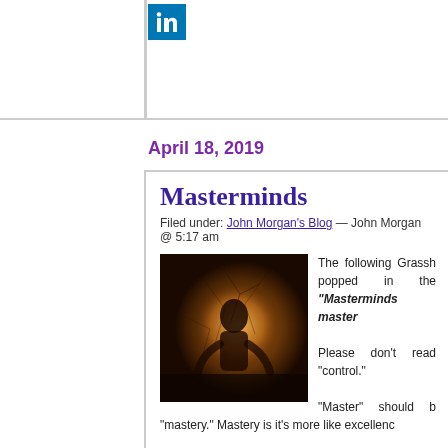[Figure (logo): LinkedIn icon — white 'in' logo on blue background square]
April 18, 2019
Masterminds
Filed under: John Morgan's Blog — John Morgan @ 5:17 am
[Figure (photo): Dark moody photo of a silhouetted figure against a cracked or textured golden/brown surface with light emanating from behind]
The following Grassh popped in the "Masterminds master
Please don't read "control."
"Master" should b "mastery." Mastery is it's more like excellenc
An excellent way to mind is to observe you Just become a bysta thought process an
Broadway show your mind puts on.
To become more of a mastermind, you have to have less attachment to When you attach to your thoughts, you wind up fighting with your mind. Y won an argument with your mind.
Observing the mind rather than fighting with it is the key to mastery.